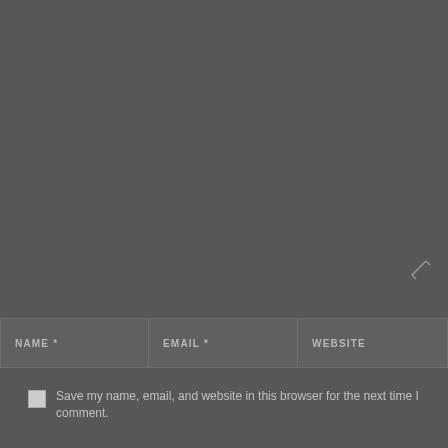[Figure (screenshot): Comment form section with dark gray background showing NAME*, EMAIL*, WEBSITE input fields, a save checkbox, and POST COMMENT button]
NAME *
EMAIL *
WEBSITE
Save my name, email, and website in this browser for the next time I comment.
POST COMMENT
DESIGN, PRINT AND WEBSITE SERVICES
[Figure (screenshot): YouTube-style video embed showing Everest channel logo and Blue Chip Promotion & Consulting channel name on dark blue background]